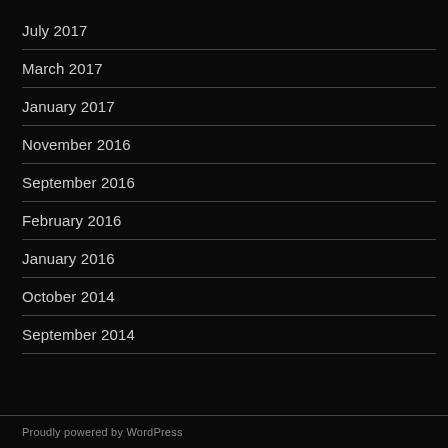July 2017
March 2017
January 2017
November 2016
September 2016
February 2016
January 2016
October 2014
September 2014
Proudly powered by WordPress